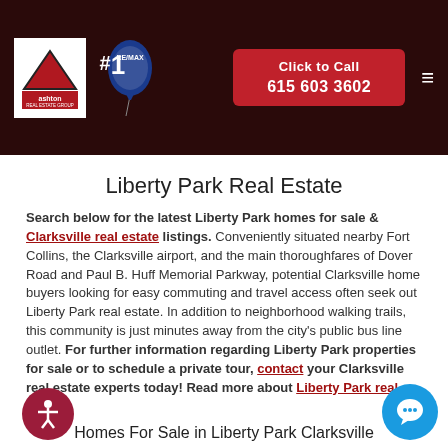Ashton Real Estate Group — Click to Call 615 603 3602
Liberty Park Real Estate
Search below for the latest Liberty Park homes for sale & Clarksville real estate listings. Conveniently situated nearby Fort Collins, the Clarksville airport, and the main thoroughfares of Dover Road and Paul B. Huff Memorial Parkway, potential Clarksville home buyers looking for easy commuting and travel access often seek out Liberty Park real estate. In addition to neighborhood walking trails, this community is just minutes away from the city's public bus line outlet. For further information regarding Liberty Park properties for sale or to schedule a private tour, contact your Clarksville real estate experts today! Read more about Liberty Park real estate.
Homes For Sale in Liberty Park Clarksville
Save This Search
Refine This Search